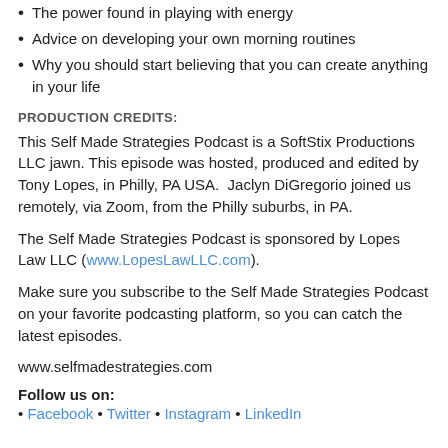The power found in playing with energy
Advice on developing your own morning routines
Why you should start believing that you can create anything in your life
PRODUCTION CREDITS:
This Self Made Strategies Podcast is a SoftStix Productions LLC jawn. This episode was hosted, produced and edited by Tony Lopes, in Philly, PA USA.  Jaclyn DiGregorio joined us remotely, via Zoom, from the Philly suburbs, in PA.
The Self Made Strategies Podcast is sponsored by Lopes Law LLC (www.LopesLawLLC.com).
Make sure you subscribe to the Self Made Strategies Podcast on your favorite podcasting platform, so you can catch the latest episodes.
www.selfmadestrategies.com
Follow us on:
• Facebook • Twitter • Instagram • LinkedIn